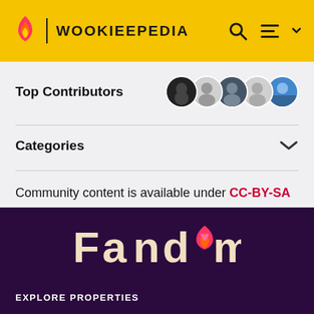WOOKIEEPEDIA
Top Contributors
Categories
Community content is available under CC-BY-SA unless otherwise noted.
[Figure (logo): Fandom logo in white and pink/yellow on dark purple background]
EXPLORE PROPERTIES